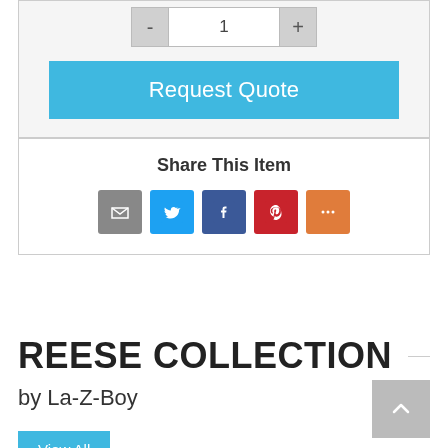[Figure (screenshot): Quantity selector with minus button, quantity display showing 1, and plus button]
[Figure (screenshot): Request Quote button in blue]
Share This Item
[Figure (infographic): Social share icons: Email (grey), Twitter (blue), Facebook (blue), Pinterest (red), More (orange)]
REESE COLLECTION
by La-Z-Boy
[Figure (screenshot): View All button in blue]